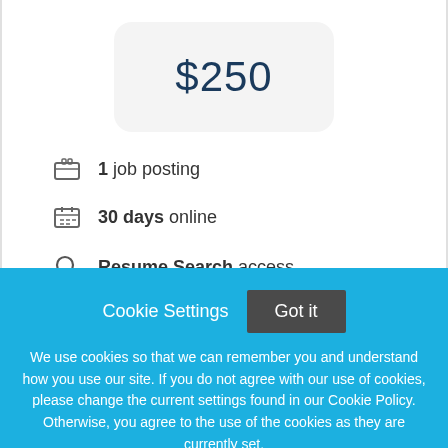$250
1 job posting
30 days online
Resume Search access
Cookie Settings
Got it
We use cookies so that we can remember you and understand how you use our site. If you do not agree with our use of cookies, please change the current settings found in our Cookie Policy. Otherwise, you agree to the use of the cookies as they are currently set.